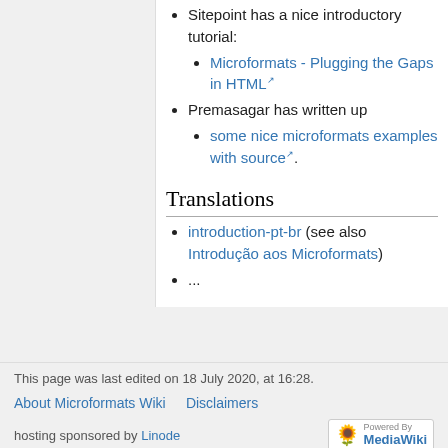Sitepoint has a nice introductory tutorial:
Microformats - Plugging the Gaps in HTML
Premasagar has written up
some nice microformats examples with source.
Translations
introduction-pt-br (see also Introdução aos Microformats)
...
This page was last edited on 18 July 2020, at 16:28.
About Microformats Wiki   Disclaimers
hosting sponsored by Linode